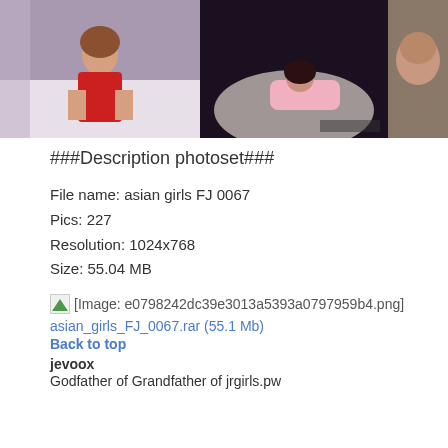[Figure (photo): Three photos side by side: woman in red dress on bed, woman in pink lingerie on floor, partial close-up of person lying down]
###Description photoset###
File name: asian girls FJ 0067
Pics: 227
Resolution: 1024x768
Size: 55.04 MB
[Figure (illustration): [Image: e0798242dc39e3013a5393a0797959b4.png]]
asian_girls_FJ_0067.rar (55.1 Mb)
Back to top
jevoox
Godfather of Grandfather of jrgirls.pw